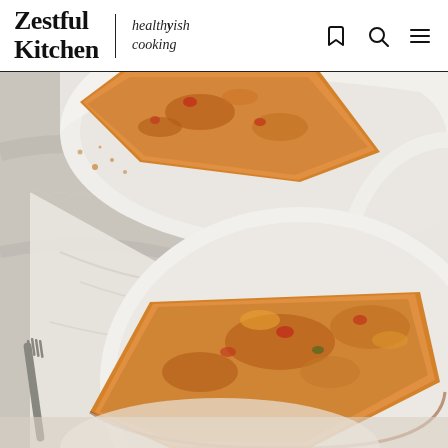Zestful Kitchen | healthyish cooking
[Figure (photo): Overhead food photography showing two white ceramic plates each with a slice of baked egg frittata or quiche, with golden-brown cheesy tops, set on a light grey marble surface with a white linen napkin. A silver fork is visible beside the bottom plate. A third partial plate is visible at bottom edge.]